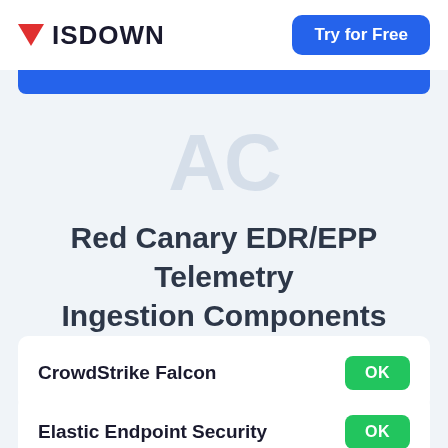ISDOWN | Try for Free
Red Canary EDR/EPP Telemetry Ingestion Components Status
CrowdStrike Falcon OK
Elastic Endpoint Security OK